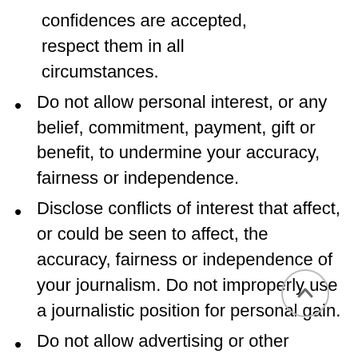confidences are accepted, respect them in all circumstances.
Do not allow personal interest, or any belief, commitment, payment, gift or benefit, to undermine your accuracy, fairness or independence.
Disclose conflicts of interest that affect, or could be seen to affect, the accuracy, fairness or independence of your journalism. Do not improperly use a journalistic position for personal gain.
Do not allow advertising or other commercial considerations to